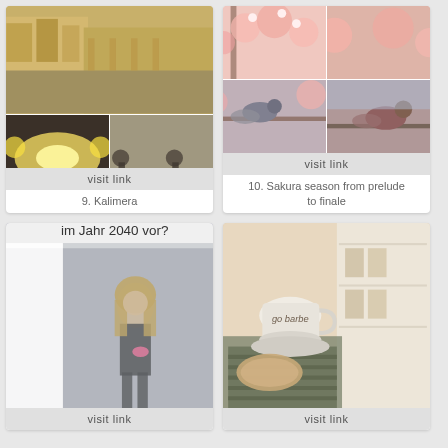[Figure (photo): Photo collage card 9: Kalimera - street scenes with buildings and bicycles]
visit link
9. Kalimera
[Figure (photo): Photo collage card 10: Sakura season - cherry blossoms and birds]
visit link
10. Sakura season from prelude to finale
[Figure (photo): Card 11: Barbie doll scene with text 'im Jahr 2040 vor?']
visit link
[Figure (photo): Card 12: Coffee cup and food on table, sepia/vintage tones]
visit link